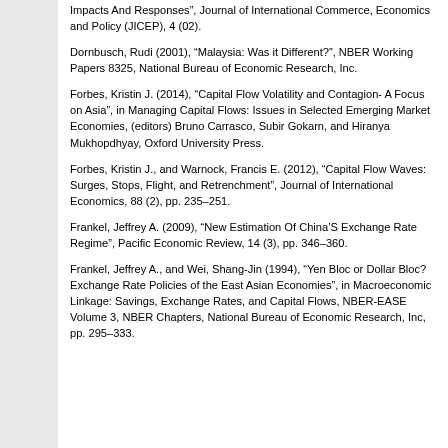Impacts And Responses", Journal of International Commerce, Economics and Policy (JICEP), 4 (02).
Dornbusch, Rudi (2001), “Malaysia: Was it Different?", NBER Working Papers 8325, National Bureau of Economic Research, Inc.
Forbes, Kristin J. (2014), “Capital Flow Volatility and Contagion- A Focus on Asia", in Managing Capital Flows: Issues in Selected Emerging Market Economies, (editors) Bruno Carrasco, Subir Gokarn, and Hiranya Mukhopdhyay, Oxford University Press.
Forbes, Kristin J., and Warnock, Francis E. (2012), “Capital Flow Waves: Surges, Stops, Flight, and Retrenchment", Journal of International Economics, 88 (2), pp. 235–251.
Frankel, Jeffrey A. (2009), “New Estimation Of China’S Exchange Rate Regime", Pacific Economic Review, 14 (3), pp. 346–360.
Frankel, Jeffrey A., and Wei, Shang-Jin (1994), “Yen Bloc or Dollar Bloc? Exchange Rate Policies of the East Asian Economies", in Macroeconomic Linkage: Savings, Exchange Rates, and Capital Flows, NBER-EASE Volume 3, NBER Chapters, National Bureau of Economic Research, Inc, pp. 295–333.